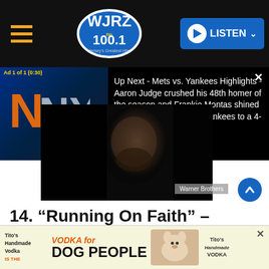[Figure (screenshot): WJRZ 100.1 FM radio station website navigation bar with hamburger menu, logo, and LISTEN button]
[Figure (screenshot): Video ad overlay showing Mets vs Yankees logos on left, and text 'Up Next - Mets vs. Yankees Highlights - Aaron Judge crushed his 48th homer of the season and Frankie Montas shined in his start to power the Yankees to a 4-2 win over the Mets' on right dark panel]
[Figure (photo): Dark dramatic portrait photo of a bearded man, credited to Warner Brothers]
14. “Running On Faith” – ‘Journeyman’ (1989)
[Figure (screenshot): Bottom advertisement banner for Tito's Handmade Vodka - VODKA for DOG PEOPLE]